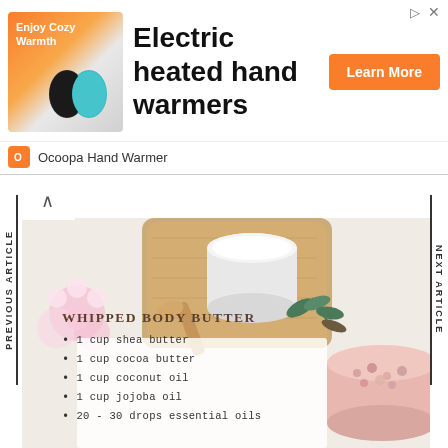[Figure (screenshot): Advertisement banner for Ocoopa Hand Warmer showing electric heated hand warmers product with orange and teal devices, 'Learn More' button, and brand name]
[Figure (photo): Composite lifestyle photo showing whipped body butter ingredients and products: a glass jar of white cream on wooden board, Himalayan pink salt in a bowl, pink flowers, a recipe card with botanical illustration overlay]
WHIPPED BODY BUTTER
1 cup shea butter
1 cup cocoa butter
1 cup coconut oil
1 cup jojoba oil
20 - 30 drops essential oils